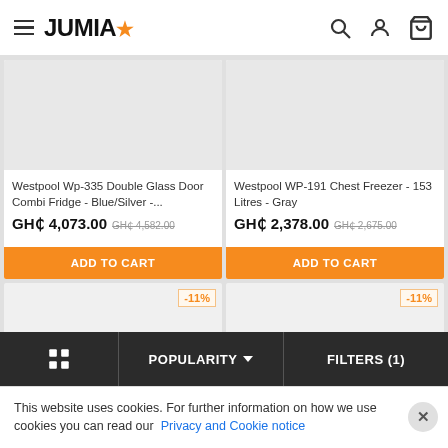JUMIA
[Figure (screenshot): Product listing card: Westpool Wp-335 Double Glass Door Combi Fridge - Blue/Silver - ...]
Westpool Wp-335 Double Glass Door Combi Fridge - Blue/Silver - ...
GH₵ 4,073.00 GH₵ 4,582.00
ADD TO CART
[Figure (screenshot): Product listing card: Westpool WP-191 Chest Freezer - 153 Litres - Gray]
Westpool WP-191 Chest Freezer - 153 Litres - Gray
GH₵ 2,378.00 GH₵ 2,675.00
ADD TO CART
-11%
-11%
POPULARITY  FILTERS (1)
This website uses cookies. For further information on how we use cookies you can read our Privacy and Cookie notice